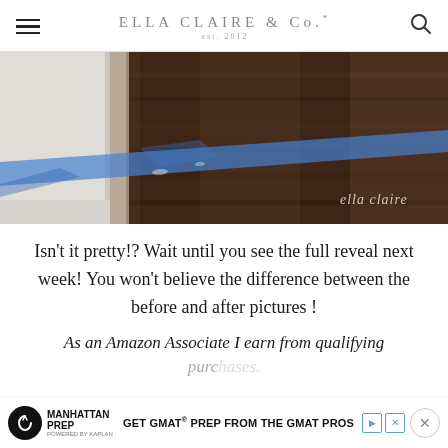ELLA CLAIRE & Co. est. 2012
[Figure (photo): Close-up photo of white cabinet base with blue painter's tape on dark wood floor, with 'ella claire' watermark in bottom right corner]
Isn't it pretty!? Wait until you see the full reveal next week! You won't believe the difference between the before and after pictures !
As an Amazon Associate I earn from qualifying purchases.
[Figure (screenshot): Manhattan Prep advertisement banner: 'GET GMAT PREP FROM THE GMAT PROS']